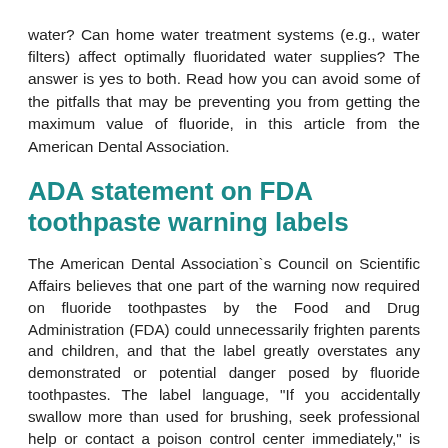water? Can home water treatment systems (e.g., water filters) affect optimally fluoridated water supplies? The answer is yes to both. Read how you can avoid some of the pitfalls that may be preventing you from getting the maximum value of fluoride, in this article from the American Dental Association.
ADA statement on FDA toothpaste warning labels
The American Dental Association`s Council on Scientific Affairs believes that one part of the warning now required on fluoride toothpastes by the Food and Drug Administration (FDA) could unnecessarily frighten parents and children, and that the label greatly overstates any demonstrated or potential danger posed by fluoride toothpastes. The label language, "If you accidentally swallow more than used for brushing, seek professional help or contact a poison control center immediately," is now required on all fluoride toothpastes. But the ADA, in a letter sent to the FDA last year, pointed out that a child could not absorb enough fluoride from toothpaste to cause a serious problem and that the excellent safety record on fluoride toothpaste argues against any unnecessary regulation.